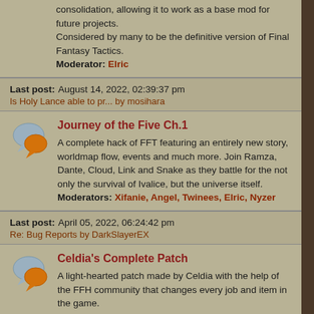consolidation, allowing it to work as a base mod for future projects. Considered by many to be the definitive version of Final Fantasy Tactics. Moderator: Elric
Last post: August 14, 2022, 02:39:37 pm
Is Holy Lance able to pr... by mosihara
[Figure (illustration): Forum chat bubble icon - gray and orange speech bubbles]
Journey of the Five Ch.1
A complete hack of FFT featuring an entirely new story, worldmap flow, events and much more. Join Ramza, Dante, Cloud, Link and Snake as they battle for the not only the survival of Ivalice, but the universe itself.
Moderators: Xifanie, Angel, Twinees, Elric, Nyzer
Last post: April 05, 2022, 06:24:42 pm
Re: Bug Reports by DarkSlayerEX
[Figure (illustration): Forum chat bubble icon - gray and orange speech bubbles]
Celdia's Complete Patch
A light-hearted patch made by Celdia with the help of the FFH community that changes every job and item in the game.